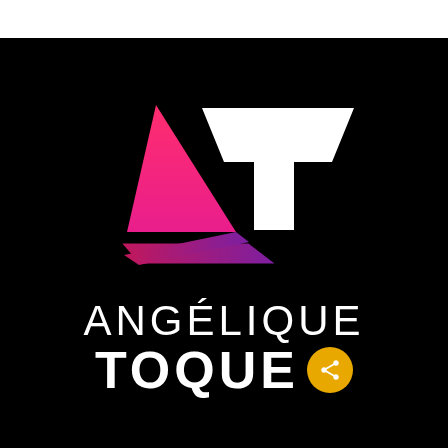[Figure (logo): Angélique Toque logo on black background. White top bar at top. Geometric logo mark: a pink-to-magenta gradient upward-pointing triangle (letter A shape) on the left, a white inverted-trapezoid T shape on the right, and a pink-to-purple gradient parallelogram base. Below: text 'ANGÉLIQUE' in white thin uppercase letters, then 'TOQUE' in white bold uppercase letters followed by a gold/amber circle with a share icon.]
ANGÉLIQUE TOQUE